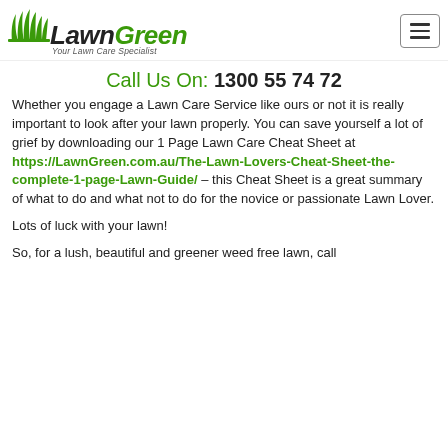[Figure (logo): LawnGreen logo with leaf/grass graphic on left, italic text 'LawnGreen' in black and green, tagline 'Your Lawn Care Specialist' in italic below]
Call Us On: 1300 55 74 72
Whether you engage a Lawn Care Service like ours or not it is really important to look after your lawn properly. You can save yourself a lot of grief by downloading our 1 Page Lawn Care Cheat Sheet at https://LawnGreen.com.au/The-Lawn-Lovers-Cheat-Sheet-the-complete-1-page-Lawn-Guide/ – this Cheat Sheet is a great summary of what to do and what not to do for the novice or passionate Lawn Lover.
Lots of luck with your lawn!
So, for a lush, beautiful and greener weed free lawn, call